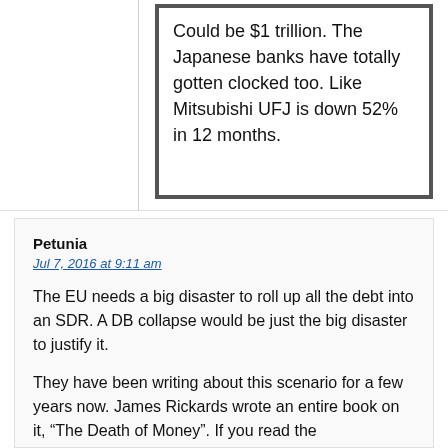Could be $1 trillion. The Japanese banks have totally gotten clocked too. Like Mitsubishi UFJ is down 52% in 12 months.
Petunia
Jul 7, 2016 at 9:11 am
The EU needs a big disaster to roll up all the debt into an SDR. A DB collapse would be just the big disaster to justify it.
They have been writing about this scenario for a few years now. James Rickards wrote an entire book on it, “The Death of Money”. If you read the book, not that the entire scenario is obvious but…